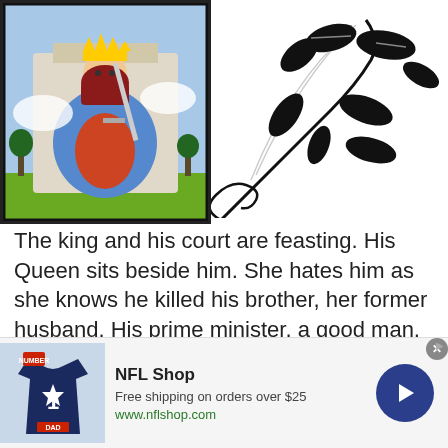[Figure (illustration): Tarot card showing a queen seated on a throne holding a sword, wearing a crown and blue robes, with clouds and trees in the background.]
[Figure (illustration): Black decorative floral/vine design with leaves on a white background.]
The king and his court are feasting. His Queen sits beside him. She hates him as she knows he killed his brother, her former husband. His prime minister, a good man, fears him. The Jester is moving about. Musicians and singers and dancers are entertaining
[Figure (other): Advertisement for NFL Shop showing a Cowboys jersey (#1 DAD), text 'NFL Shop', 'Free shipping on orders over $25', 'www.nflshop.com', and a blue navigation arrow button.]